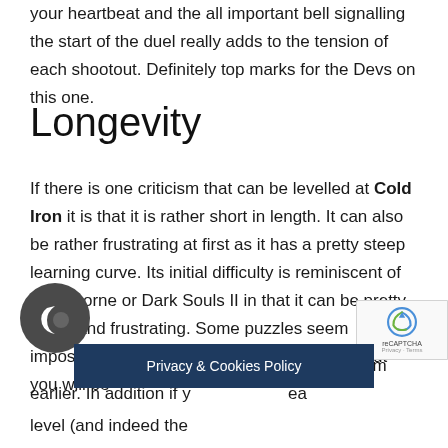your heartbeat and the all important bell signalling the start of the duel really adds to the tension of each shootout. Definitely top marks for the Devs on this one.
Longevity
If there is one criticism that can be levelled at Cold Iron it is that it is rather short in length. It can also be rather frustrating at first as it has a pretty steep learning curve. Its initial difficulty is reminiscent of Bloodborne or Dark Souls II in that it can be pretty harsh and frustrating. Some puzzles seem impossible to solve but once you work them out you will be kicking yourself as to why you didn't solve them earlier. In addition if you complete each level (and indeed the